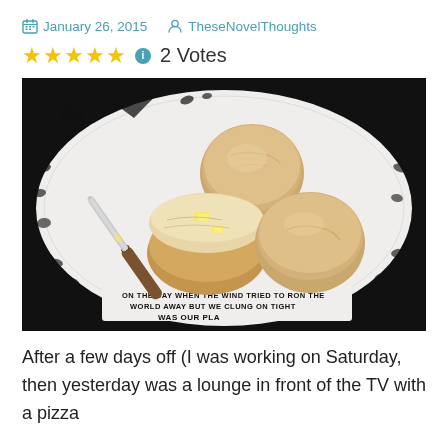January 26, 2015   TheseNovelThoughts
★★★★★ ℹ 2 Votes
[Figure (photo): A black and white decorative plate with biscuits/scones, one split open with butter pats, and a butter knife resting on the plate. The plate has tree/leaf and text patterns on the border reading 'ON THE DAY WHEN THE WIND TRIED TO RON THE WORLD AWAY BUT WE CLUNG ON TIGHT WAS OUR PLA'.]
After a few days off (I was working on Saturday, then yesterday was a lounge in front of the TV with a pizza